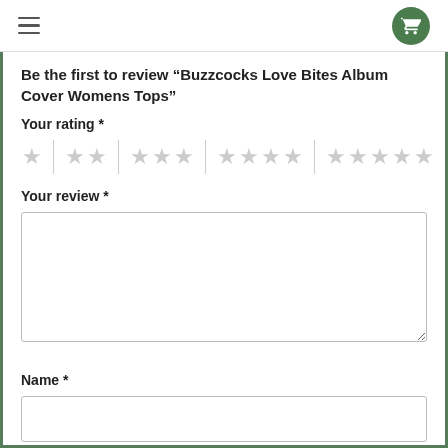Navigation header with hamburger menu and cart button
Be the first to review “Buzzcocks Love Bites Album Cover Womens Tops”
Your rating *
[Figure (other): Star rating selector with 5 groups: 1 star, 2 stars, 3 stars, 4 stars, 5 stars — all unselected (grey)]
Your review *
[Figure (other): Empty textarea input box for review text]
Name *
[Figure (other): Empty text input box for name]